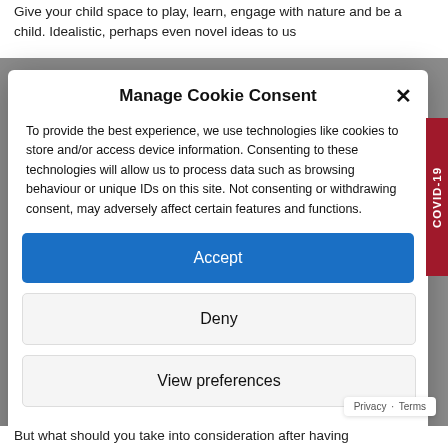Give your child space to play, learn, engage with nature and be a child. Idealistic, perhaps even novel ideas to us
Manage Cookie Consent
To provide the best experience, we use technologies like cookies to store and/or access device information. Consenting to these technologies will allow us to process data such as browsing behaviour or unique IDs on this site. Not consenting or withdrawing consent, may adversely affect certain features and functions.
Accept
Deny
View preferences
Cookie Policy   Privacy Statement
But what should you take into consideration after having